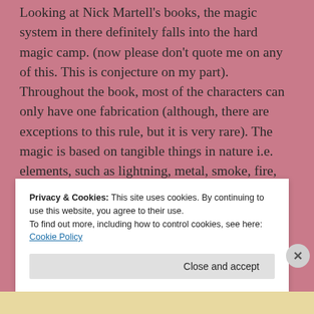Looking at Nick Martell's books, the magic system in there definitely falls into the hard magic camp. (now please don't quote me on any of this. This is conjecture on my part). Throughout the book, most of the characters can only have one fabrication (although, there are exceptions to this rule, but it is very rare). The magic is based on tangible things in nature i.e. elements, such as lightning, metal, smoke, fire, light, dark etc. and they may take on certain characteristics of the said fabrication. For instance, if
Privacy & Cookies: This site uses cookies. By continuing to use this website, you agree to their use.
To find out more, including how to control cookies, see here: Cookie Policy
Close and accept